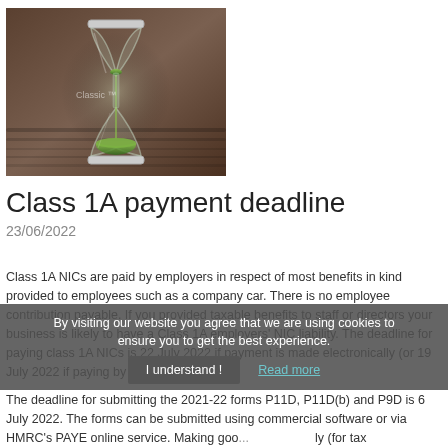[Figure (photo): Hourglass with green sand on a wooden surface]
Class 1A payment deadline
23/06/2022
Class 1A NICs are paid by employers in respect of most benefits in kind provided to employees such as a company car. There is no employee contribution payable. If you provided taxable benefits to staff or directors your business is likely to have a Class 1A employers' NIC liability. The deadline for paying class 1A NICs is 22 July 2022 if payment is made electronically (or 19 July 2022 if paying by cheque).
By visiting our website you agree that we are using cookies to ensure you to get the best experience.
The deadline for submitting the 2021-22 forms P11D, P11D(b) and P9D is 6 July 2022. The forms can be submitted using commercial software or via HMRC's PAYE online service. Making good... (for tax